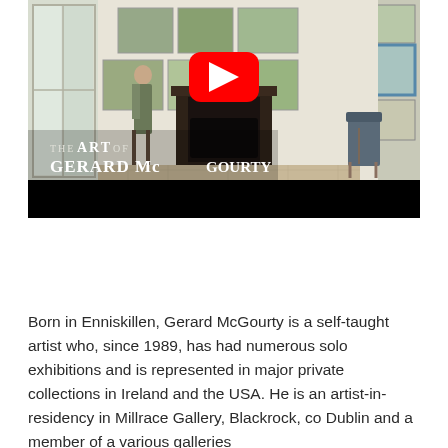[Figure (screenshot): YouTube video thumbnail showing an art gallery room with paintings on walls, a fireplace, and a chair. Overlay text reads 'THE ART OF GERARD McGOURTY'. A YouTube play button is prominently displayed in the center. The bottom has a black bar.]
Born in Enniskillen, Gerard McGourty is a self-taught artist who, since 1989, has had numerous solo exhibitions and is represented in major private collections in Ireland and the USA. He is an artist-in-residency in Millrace Gallery, Blackrock, co Dublin and a member of a various galleries